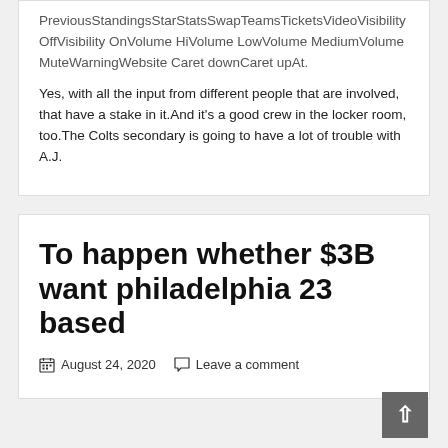PreviousStandingsStarStatsSwapTeamsTicketsVideoVisibility OffVisibility OnVolume HiVolume LowVolume MediumVolume MuteWarningWebsite Caret downCaret upAt.
Yes, with all the input from different people that are involved, that have a stake in it.And it's a good crew in the locker room, too.The Colts secondary is going to have a lot of trouble with A.J.
To happen whether $3B want philadelphia 23 based
August 24, 2020  Leave a comment